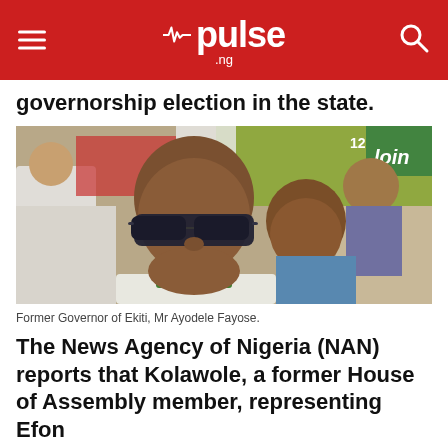pulse .ng
governorship election in the state.
[Figure (photo): Former Governor of Ekiti, Mr Ayodele Fayose, a bald man wearing dark sunglasses and a white outfit with green scarf, photographed at an outdoor political event with other people in the background.]
Former Governor of Ekiti, Mr Ayodele Fayose.
The News Agency of Nigeria (NAN) reports that Kolawole, a former House of Assembly member, representing Efon